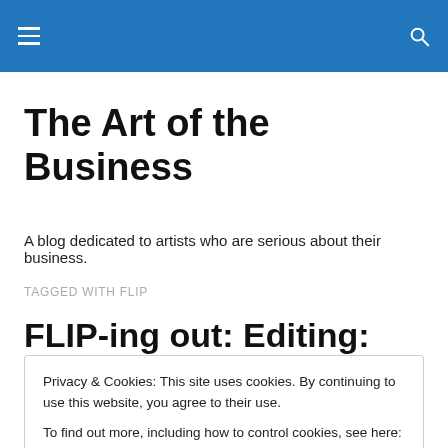The Art of the Business
A blog dedicated to artists who are serious about their business.
TAGGED WITH FLIP
FLIP-ing out: Editing: PC
Fourth post in my series on using video (specifically, shot
Privacy & Cookies: This site uses cookies. By continuing to use this website, you agree to their use.
To find out more, including how to control cookies, see here: Cookie Policy
Close and accept
The Flip comes with built-in software called FlipShare. It's